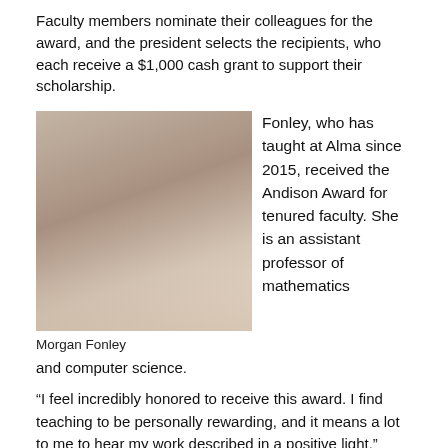Faculty members nominate their colleagues for the award, and the president selects the recipients, who each receive a $1,000 cash grant to support their scholarship.
[Figure (photo): Portrait photo of Morgan Fonley, a woman with shoulder-length brown hair, smiling, wearing a floral top]
Fonley, who has taught at Alma since 2015, received the Andison Award for tenured faculty. She is an assistant professor of mathematics
Morgan Fonley
and computer science.
“I feel incredibly honored to receive this award. I find teaching to be personally rewarding, and it means a lot to me to hear my work described in a positive light,” Fonley said. “This year I have been especially grateful for the hard work, flexibility and grace of the